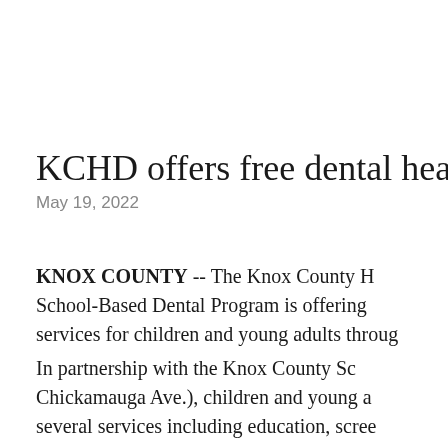KCHD offers free dental health
May 19, 2022
KNOX COUNTY -- The Knox County H School-Based Dental Program is offering services for children and young adults throug
In partnership with the Knox County Sc Chickamauga Ave.), children and young a several services including education, scree varnish